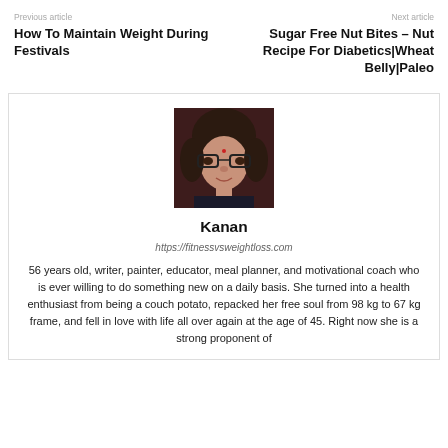Previous article
How To Maintain Weight During Festivals
Next article
Sugar Free Nut Bites – Nut Recipe For Diabetics|Wheat Belly|Paleo
[Figure (photo): Portrait photo of Kanan, a woman with glasses and a bindi, dark hair]
Kanan
https://fitnessvsweightloss.com
56 years old, writer, painter, educator, meal planner, and motivational coach who is ever willing to do something new on a daily basis. She turned into a health enthusiast from being a couch potato, repacked her free soul from 98 kg to 67 kg frame, and fell in love with life all over again at the age of 45. Right now she is a strong proponent of